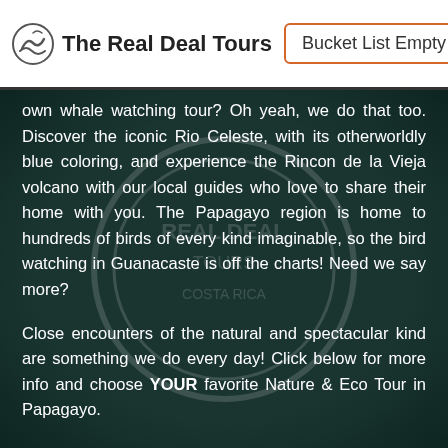The Real Deal Tours | Bucket List Empty
own whale watching tour? Oh yeah, we do that too. Discover the iconic Rio Celeste, with its otherworldly blue coloring, and experience the Rincon de la Vieja volcano with our local guides who love to share their home with you. The Papagayo region is home to hundreds of birds of every kind imaginable, so the bird watching in Guanacaste is off the charts! Need we say more?
Close encounters of the natural and spectacular kind are something we do every day! Click below for more info and choose YOUR favorite Nature & Eco Tour in Papagayo.